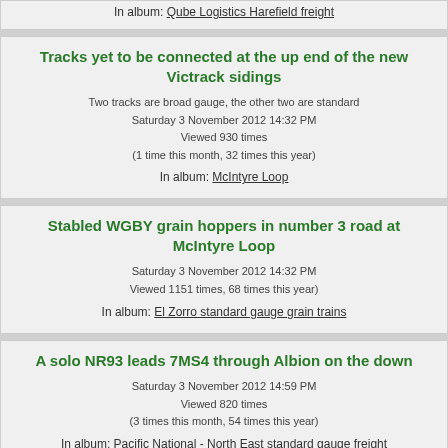In album: Qube Logistics Harefield freight
Tracks yet to be connected at the up end of the new Victrack sidings
Two tracks are broad gauge, the other two are standard
Saturday 3 November 2012 14:32 PM
Viewed 930 times
(1 time this month, 32 times this year)
In album: McIntyre Loop
Stabled WGBY grain hoppers in number 3 road at McIntyre Loop
Saturday 3 November 2012 14:32 PM
Viewed 1151 times, 68 times this year)
In album: El Zorro standard gauge grain trains
A solo NR93 leads 7MS4 through Albion on the down
Saturday 3 November 2012 14:59 PM
Viewed 820 times
(3 times this month, 54 times this year)
In album: Pacific National - North East standard gauge freight